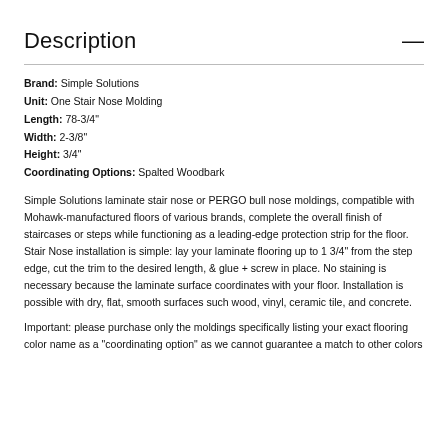Description
Brand: Simple Solutions
Unit: One Stair Nose Molding
Length: 78-3/4"
Width: 2-3/8"
Height: 3/4"
Coordinating Options: Spalted Woodbark
Simple Solutions laminate stair nose or PERGO bull nose moldings, compatible with Mohawk-manufactured floors of various brands, complete the overall finish of staircases or steps while functioning as a leading-edge protection strip for the floor. Stair Nose installation is simple: lay your laminate flooring up to 1 3/4" from the step edge, cut the trim to the desired length, & glue + screw in place. No staining is necessary because the laminate surface coordinates with your floor. Installation is possible with dry, flat, smooth surfaces such wood, vinyl, ceramic tile, and concrete.
Important: please purchase only the moldings specifically listing your exact flooring color name as a "coordinating option" as we cannot guarantee a match to other colors